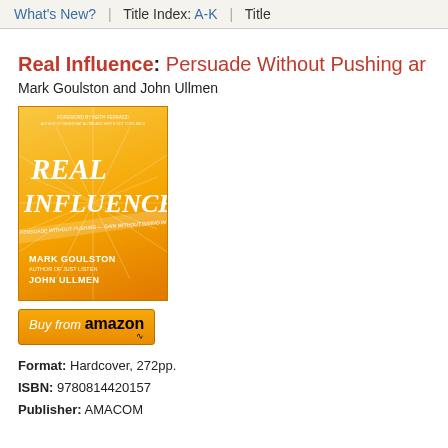What's New? | Title Index: A-K | Title
Real Influence: Persuade Without Pushing ar
Mark Goulston and John Ullmen
[Figure (photo): Book cover of Real Influence by Mark Goulston and John Ullmen, orange background with sunburst rays, white italic title text]
[Figure (logo): Buy from amazon button, orange gradient background]
Format: Hardcover, 272pp.
ISBN: 9780814420157
Publisher: AMACOM